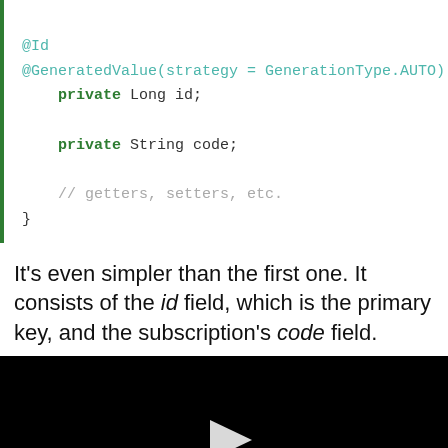@Id
@GeneratedValue(strategy = GenerationType.AUTO)
    private Long id;

    private String code;

    // getters, setters, etc.
}
It's even simpler than the first one. It consists of the id field, which is the primary key, and the subscription's code field.
[Figure (other): Black video player area with a white play button triangle in the center]